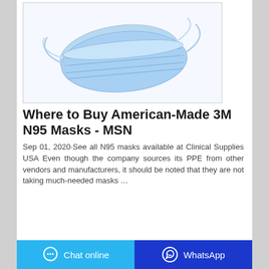[Figure (photo): Blue disposable surgical/N95 face masks stacked, on white background]
Where to Buy American-Made 3M N95 Masks - MSN
Sep 01, 2020·See all N95 masks available at Clinical Supplies USA Even though the company sources its PPE from other vendors and manufacturers, it should be noted that they are not taking much-needed masks …